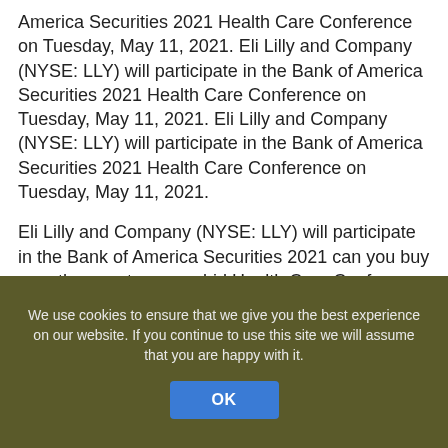America Securities 2021 Health Care Conference on Tuesday, May 11, 2021. Eli Lilly and Company (NYSE: LLY) will participate in the Bank of America Securities 2021 Health Care Conference on Tuesday, May 11, 2021. Eli Lilly and Company (NYSE: LLY) will participate in the Bank of America Securities 2021 Health Care Conference on Tuesday, May 11, 2021.
Eli Lilly and Company (NYSE: LLY) will participate in the Bank of America Securities 2021 can you buy over the counter macrobid Health Care Conference on Tuesday, May 11, 2021. Eli Lilly and Company (NYSE: LLY) will participate special info in the Bank of America Securities 2021 Health Care Conference on Tuesday, May 11, 2021. Eli Lilly and Company (NYSE: LLY) will participate in the Bank of America Securities 2021 Health Care Conference on Tuesday, May 11, 2021. Eli Lilly and Company (NYSE: LLY) will participate in the Bank of America Securities 2021
We use cookies to ensure that we give you the best experience on our website. If you continue to use this site we will assume that you are happy with it.